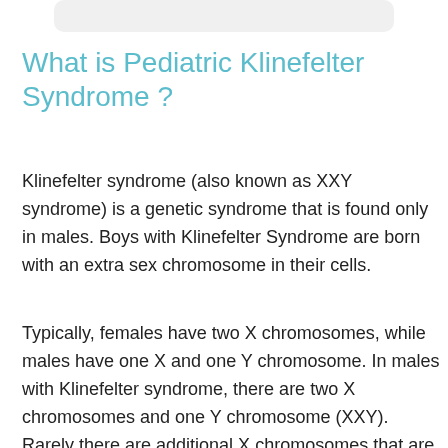[Figure (other): Gray rounded rectangle bar at the top of the page]
What is Pediatric Klinefelter Syndrome ?
Klinefelter syndrome (also known as XXY syndrome) is a genetic syndrome that is found only in males. Boys with Klinefelter Syndrome are born with an extra sex chromosome in their cells.
Typically, females have two X chromosomes, while males have one X and one Y chromosome. In males with Klinefelter syndrome, there are two X chromosomes and one Y chromosome (XXY). Rarely there are additional X chromosomes that are present in the cells (XXXY).